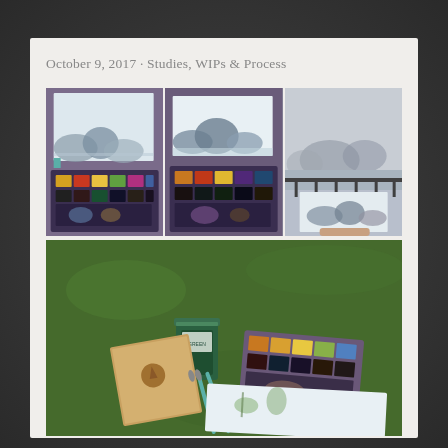October 9, 2017 · Studies, WIPs & Process
[Figure (photo): Three watercolor painting photos arranged in a grid: left shows a watercolor landscape with paint palette below, center shows similar watercolor with palette, right shows someone holding a watercolor painting outdoors near a harbor with mountains in fog]
[Figure (photo): Outdoor plein air painting setup on grass: green water container, sketchbook/journal with Eiffel Tower stamp, watercolor palette with paints, brushes, and a watercolor sketchbook with botanical drawings]